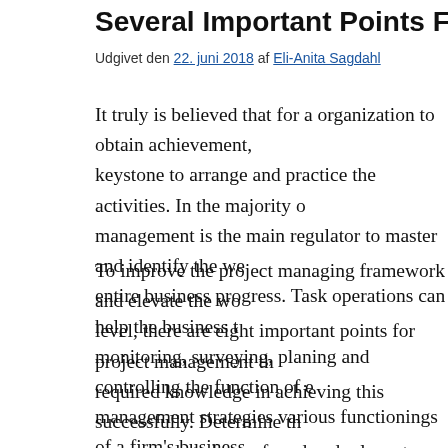Several Important Points For Project Management
Udgivet den 22. juni 2018 af Eli-Anita Sagdahl
It truly is believed that for a organization to obtain achievement, keystone to arrange and practice the activities. In the majority of management is the main regulator to master and identify the we entire business progress. Task operations can help the business t monitoring, surveying, planing and controlling the function of e management strategies various functionings of a firm's business operations strategy, plagiarism of numerous automated equipme applications. Identity and explanation of the various activities ar responsibilities together deliver with very clear timelines helps t
To improve the project managing framework and elevate the wo level, there are eight important points for project management th required knowledge in achieving this successfully. Determine th range needs to be profound and relevant together with the goals because this is going to give you a knowledge of the eye-sight, management work and supervision. Reason of business: Prior to expense, that is good to understand about what advantages are